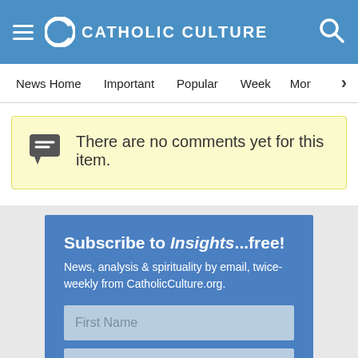CATHOLIC CULTURE
News Home   Important   Popular   Week   Mor
There are no comments yet for this item.
Subscribe to Insights...free!
News, analysis & spirituality by email, twice-weekly from CatholicCulture.org.
First Name
Last Name
email (address must work)
Sign up now!